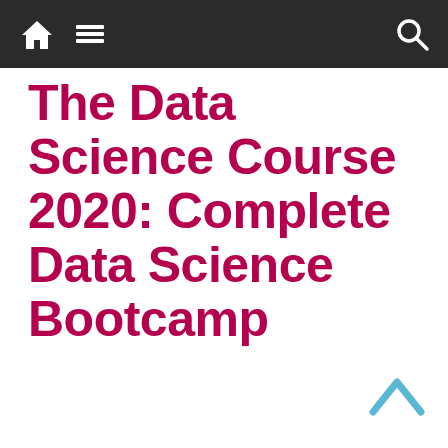navigation bar with home icon, menu icon, and search icon
The Data Science Course 2020: Complete Data Science Bootcamp